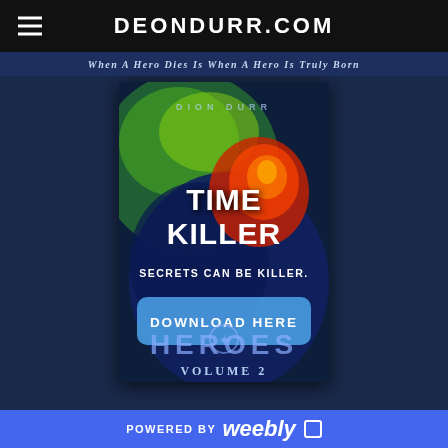DEONDURR.COM
When A Hero Dies Is When A Hero Is Truly Born
[Figure (illustration): Book cover for 'Time Killer' by Dion Durr, showing a swirling cosmic storm background in greens, blues, and a vivid red/orange center. Title reads TIME KILLER in large bold white text. Tagline: SECRETS CAN BE KILLER. A blue button overlay reads DOWNLOAD HERE. Below is partially visible text reading HEROES VOLUME 2.]
POWERED BY weebly